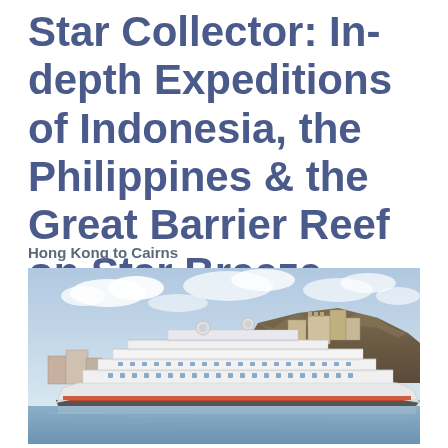Star Collector: In-depth Expeditions of Indonesia, the Philippines & the Great Barrier Reef on Star Breeze
Hong Kong to Cairns
[Figure (photo): A large white luxury cruise ship (Star Breeze) docked in port with a rocky hillside and Mediterranean-style buildings in the background under a partly cloudy blue sky. The ship has multiple decks, white superstructure, and a distinctive profile.]